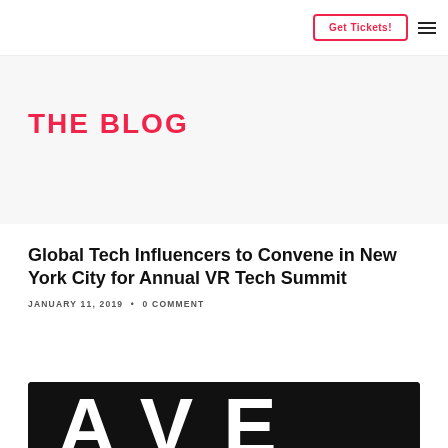Get Tickets!
THE BLOG
Global Tech Influencers to Convene in New York City for Annual VR Tech Summit
JANUARY 11, 2019 • 0 COMMENT
[Figure (photo): Dark banner image with large white text letters, partially visible at bottom of page]